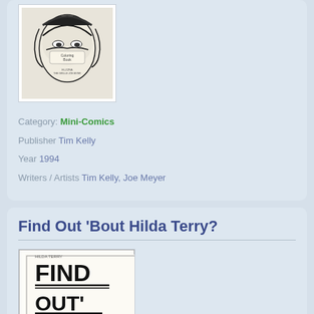[Figure (photo): Black and white comic book cover showing a face, titled Coloring Book]
Category: Mini-Comics
Publisher  Tim Kelly
Year  1994
Writers / Artists  Tim Kelly, Joe Meyer
Find Out 'Bout Hilda Terry?
[Figure (photo): Hand-lettered comic cover reading FIND OUT 'BOUT HILDA? TERRY?]